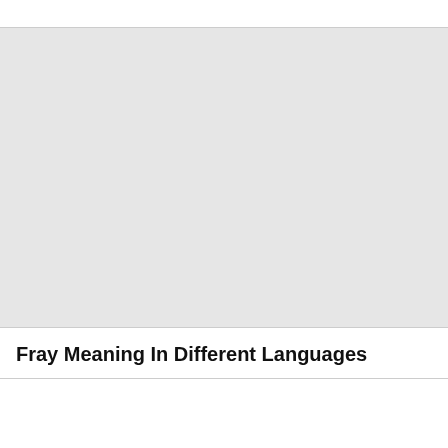[Figure (other): Gray placeholder image block]
Fray Meaning In Different Languages